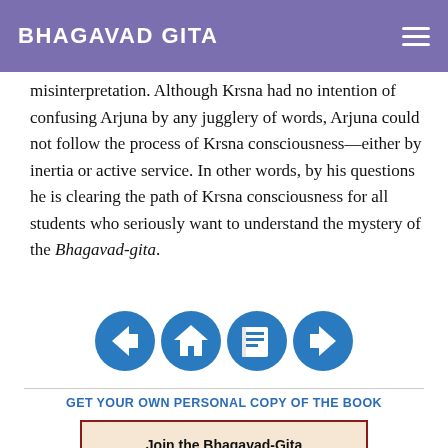BHAGAVAD GITA
misinterpretation. Although Krsna had no intention of confusing Arjuna by any jugglery of words, Arjuna could not follow the process of Krsna consciousness—either by inertia or active service. In other words, by his questions he is clearing the path of Krsna consciousness for all students who seriously want to understand the mystery of the Bhagavad-gita.
[Figure (other): Navigation icons: back arrow, home, book/document, forward arrow — circular blue icon buttons]
GET YOUR OWN PERSONAL COPY OF THE BOOK
[Figure (other): Promotional box with beige/cream background and dark red border. Contains bold text 'Join the Bhagavad-Gita Connect Newsletter' and an illustration of a pen/quill.]